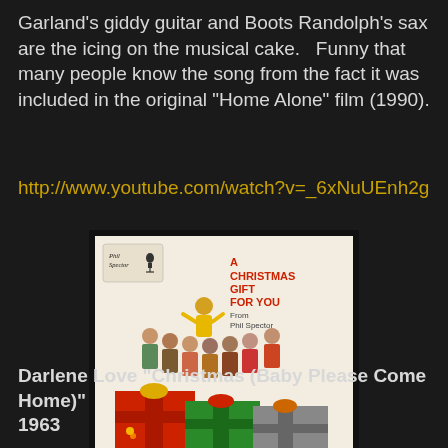Garland's giddy guitar and Boots Randolph's sax are the icing on the musical cake.   Funny that many people know the song from the fact it was included in the original "Home Alone" film (1990).
http://www.youtube.com/watch?v=_6xNuUEnh2g
[Figure (photo): Album cover for 'A Christmas Gift For You From Phil Spector' showing a group of people posing with wrapped Christmas gifts, on a white background with the Phil Spector label logo in the top left and red title text on the right.]
Darlene Love "Christmas (Baby Please Come Home)" 1963